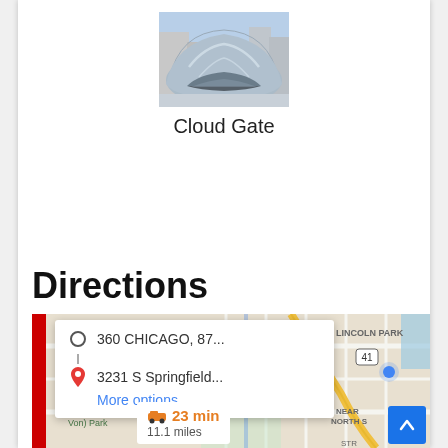[Figure (photo): Photo of Cloud Gate (the Bean sculpture) in Chicago, viewed from below showing the reflective curved metallic surface with city buildings reflected.]
Cloud Gate
Directions
[Figure (screenshot): Google Maps screenshot showing a directions panel with origin '360 CHICAGO, 87...' and destination '3231 S Springfield...' with 'More options' link. Map shows Chicago neighborhoods including Lincoln Park, Humboldt (Alexander Von) Park, Near North Side. Route info shows 23 min, 11.1 miles.]